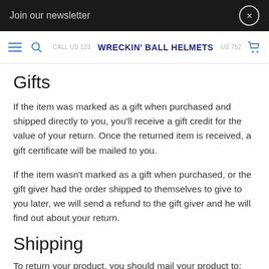Join our newsletter
WRECKIN' BALL HELMETS
Gifts
If the item was marked as a gift when purchased and shipped directly to you, you'll receive a gift credit for the value of your return. Once the returned item is received, a gift certificate will be mailed to you.
If the item wasn't marked as a gift when purchased, or the gift giver had the order shipped to themselves to give to you later, we will send a refund to the gift giver and he will find out about your return.
Shipping
To return your product, you should mail your product to: